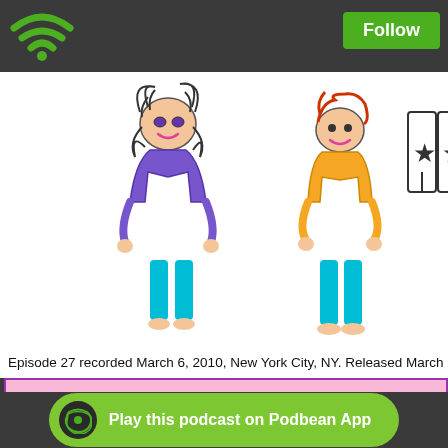[Figure (illustration): Child-drawn crayon illustration of three characters: a woman with curly hair in purple outfit, a child with red hair in yellow shirt and teal pants, and a pair of pants/legs with stars on them]
Episode 27 recorded March 6, 2010, New York City, NY. Released March 24,
Email us to tell us any damn thing you want. And if you're Mexican we want you – Carmen's got a very special prize offer for you: eatmypaganass@g
Go to our podcast blog to post a comment, share your thoughts, and divulge secrets in an unabashedly public forum: https://eatmypaganass.podbe
Follow us on Twitter: http://twitter.com/EatMyPaganAss
Be our fan on Facebook: http://www.facebook.com/pages/Eat-My-P
Play this podcast on Podbean App